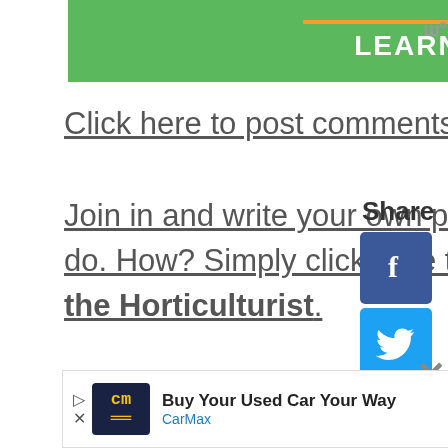[Figure (screenshot): Green advertisement banner with orange underline and 'LEARN WHY' text in white bold letters]
Click here to post comments
Join in and write your own page! It's easy to do. How? Simply click here to return to Ask the Horticulturist.
[Figure (infographic): Share sidebar with Facebook, Twitter, Pinterest, Tumblr, and Favorite social sharing buttons, plus counter showing 1, share-plus and play buttons]
[Figure (screenshot): CarMax advertisement: Buy Your Used Car Your Way]